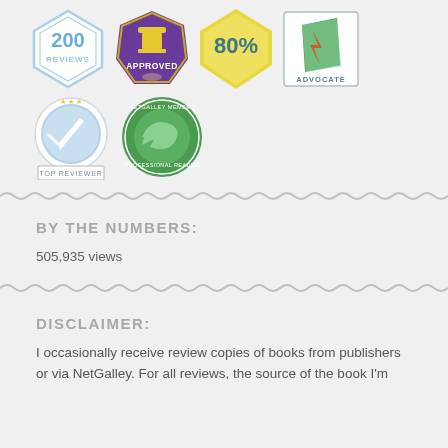[Figure (illustration): Four badges in a row: '200 REVIEWS' diamond badge (light blue outline), 'APPROVED' hexagon badge (purple with gold stamp icon), '80%' pentagon badge (yellow/gold), and 'ADVOCATE' square badge (teal with book icon). Second row: 'TOP REVIEWER' circular badge (light blue with EU stars and checkmark), 'NetGalley MEMBER PROFESSIONAL READER' circular badge (green with arrow icon).]
BY THE NUMBERS:
505,935 views
DISCLAIMER:
I occasionally receive review copies of books from publishers or via NetGalley. For all reviews, the source of the book I'm